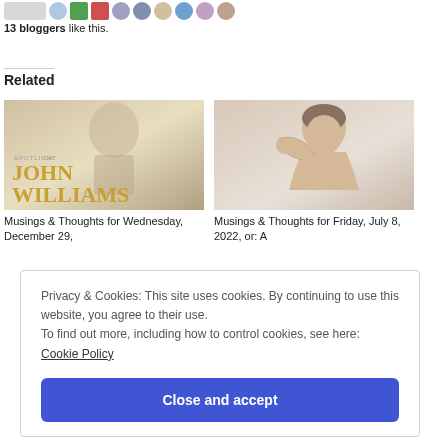[Figure (other): Row of blogger avatar icons at the top]
13 bloggers like this.
Related
[Figure (other): Book/album cover image: Spotlight on John Williams]
Musings & Thoughts for Wednesday, December 29,
[Figure (photo): Photo of a person looking down, sneezing into their elbow]
Musings & Thoughts for Friday, July 8, 2022, or: A
Privacy & Cookies: This site uses cookies. By continuing to use this website, you agree to their use.
To find out more, including how to control cookies, see here: Cookie Policy
Close and accept